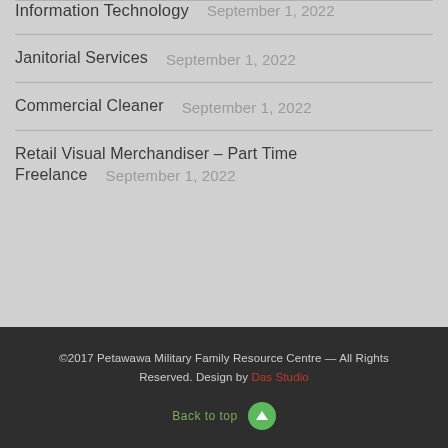Information Technology   September 1, 2022
Janitorial Services   September 1, 2022
Commercial Cleaner   September 1, 2022
Retail Visual Merchandiser – Part Time Freelance   September 1, 2022
©2017 Petawawa Military Family Resource Centre — All Rights Reserved. Design by Das Studio
Back to top